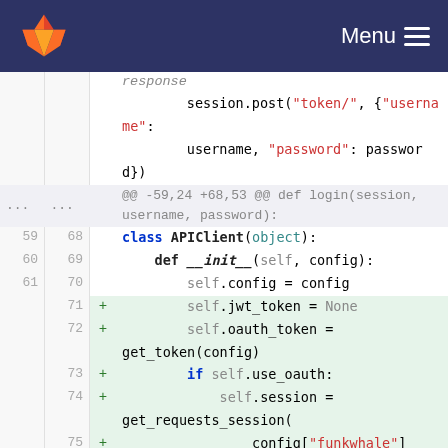GitLab navigation bar with logo and Menu
[Figure (screenshot): GitLab code diff view showing Python code changes to APIClient class, lines 59-78, with added lines highlighted in green for jwt_token, oauth_token, session initialization, and related config parameters.]